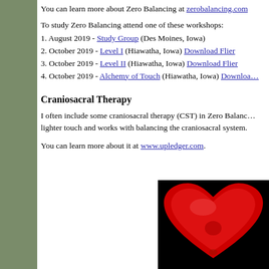You can learn more about Zero Balancing at zerobalancing.com
To study Zero Balancing attend one of these workshops:
1. August 2019 - Study Group (Des Moines, Iowa)
2. October 2019 - Level I (Hiawatha, Iowa) Download Flier
3. October 2019 - Level II (Hiawatha, Iowa) Download Flier
4. October 2019 - Alchemy of Touch (Hiawatha, Iowa) Download...
Craniosacral Therapy
I often include some craniosacral therapy (CST) in Zero Balancing. lighter touch and works with balancing the craniosacral system.
You can learn more about it at www.upledger.com.
[Figure (photo): A red heart on a black background]